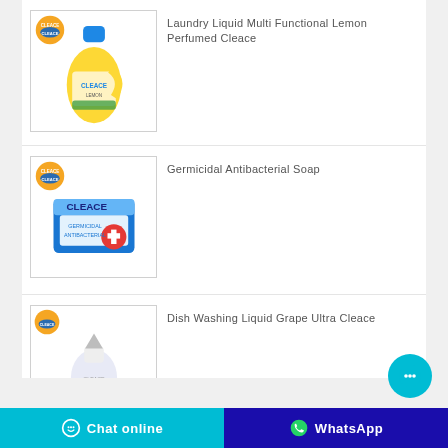[Figure (photo): Cleace Laundry Liquid Multi Functional Lemon Perfumed product bottle — yellow bottle with blue cap and orange Cleace logo badge]
Laundry Liquid Multi Functional Lemon Perfumed Cleace
[Figure (photo): Cleace Germicidal Antibacterial Soap box — blue and white box with red cross symbol and Cleace branding, orange logo badge top left]
Germicidal Antibacterial Soap
[Figure (photo): Cleace Dish Washing Liquid Grape Ultra product bottle — partially visible, with orange logo badge]
Dish Washing Liquid Grape Ultra Cleace
Chat online   WhatsApp